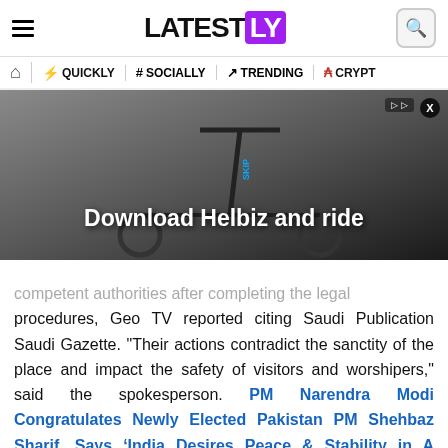LATESTLY
QUICKLY | # SOCIALLY | TRENDING | CRYPTO
[Figure (photo): Advertisement banner showing an electric scooter with text 'Download Helbiz and ride']
competent authorities after completing the legal procedures, Geo TV reported citing Saudi Publication Saudi Gazette. "Their actions contradict the sanctity of the place and impact the safety of visitors and worshipers," said the spokesperson. PM Narendra Modi Congratulates Newly Elected Pakistan PM Shehbaz Sharif, Says ‘India Desires Peace & Stability in A Region Free of Terror’.